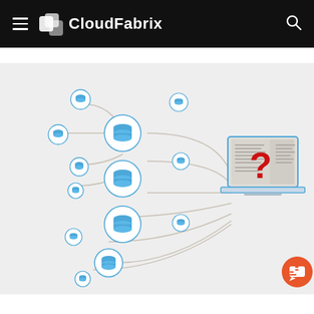CloudFabrix
[Figure (infographic): Illustration showing multiple blue database/storage icons connected by lines to a laptop computer screen displaying a large red question mark, on a light grey background. Represents data integration or unknown data sources concept. An orange chat bubble icon appears in the bottom-right corner.]
...